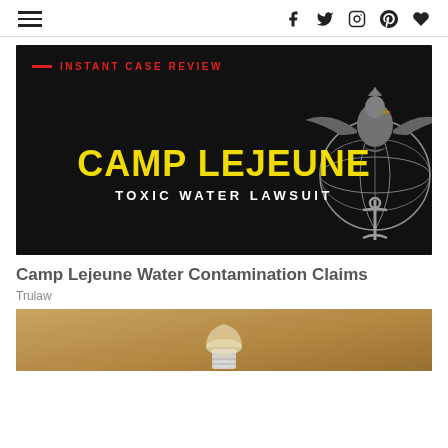Navigation bar with hamburger menu and social icons (Facebook, Twitter, Instagram, Pinterest, Heart/Favorites)
[Figure (illustration): Black background promotional image for 'Instant Case Review' with yellow bold text 'CAMP LEJEUNE' and white text 'TOXIC WATER LAWSUIT', featuring a USMC eagle globe and anchor emblem on the right side. A red horizontal line precedes red uppercase text 'INSTANT CASE REVIEW' in the top left.]
Camp Lejeune Water Contamination Claims
Trulaw
[Figure (photo): Partial image of a light bulb against a warm brown/tan background, only the top portion of the bulb visible.]